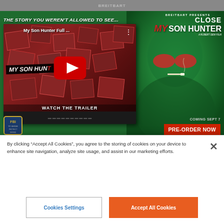BREITBART
[Figure (screenshot): Advertisement for 'My Son Hunter' film by Breitbart, featuring a YouTube video embed showing 'My Son Hunter Full...' with red play button, photo collage background, green-tinted background with man wearing red sunglasses, FBI badge, WATCH THE TRAILER text, COMING SEPT 7, PRE-ORDER NOW button, MYSONHUNTER.COM URL. Text overlay: 'THE STORY YOU WEREN'T ALLOWED TO SEE...' and 'BREITBART PRESENTS CLOSE MY SON HUNTER A ROBERT DEW FILM']
Jenny McCarthy: "He Was the Love of My Life"
By clicking “Accept All Cookies”, you agree to the storing of cookies on your device to enhance site navigation, analyze site usage, and assist in our marketing efforts.
Cookies Settings
Accept All Cookies